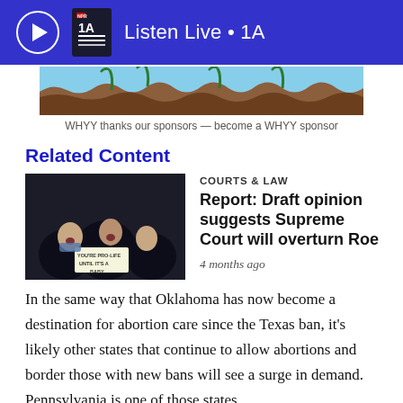Listen Live • 1A
[Figure (illustration): Cartoon illustration of brown wavy soil with green plant shoots, used as a sponsor advertisement banner]
WHYY thanks our sponsors — become a WHYY sponsor
Related Content
[Figure (photo): Photo of protesters, one holding a sign reading 'YOU'RE PRO-LIFE UNTIL IT'S A BABY']
COURTS & LAW
Report: Draft opinion suggests Supreme Court will overturn Roe
4 months ago
In the same way that Oklahoma has now become a destination for abortion care since the Texas ban, it's likely other states that continue to allow abortions and border those with new bans will see a surge in demand. Pennsylvania is one of those states.